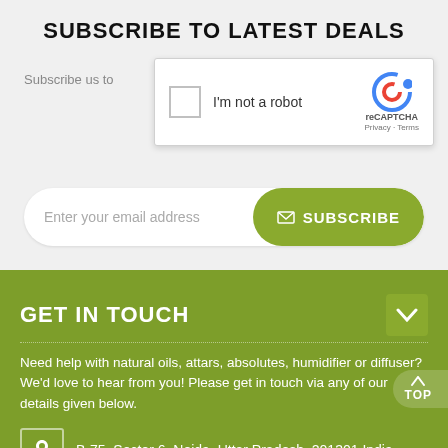SUBSCRIBE TO LATEST DEALS
Subscribe us to
[Figure (screenshot): reCAPTCHA widget with checkbox, 'I'm not a robot' text, reCAPTCHA logo, Privacy and Terms links]
Enter your email address
✉ SUBSCRIBE
GET IN TOUCH
Need help with natural oils, attars, absolutes, humidifier or diffuser? We'd love to hear from you! Please get in touch via any of our details given below.
B-75, Sector 6, Noida, Uttar Pradesh, 201301 India
(+91) 931-312-3799 (India)